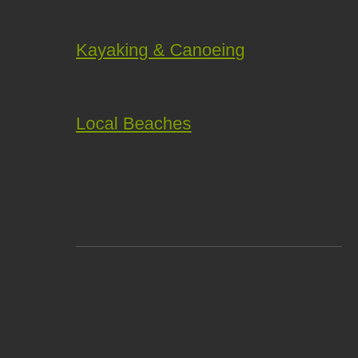Kayaking & Canoeing
Local Beaches
Events
Upcoming Events
Annual Event
Submit Event
Meetings